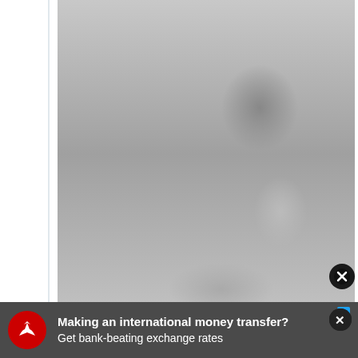with my summer evenings now #loveisland is cancelled
[Figure (photo): Black and white photo of a young man lying in bed, looking upward, hands resting on chest]
10:23 AM · May 4, 2020
Read the full conversation on Twitter
846  Reply  Copy link
Making an international money transfer? Get bank-beating exchange rates